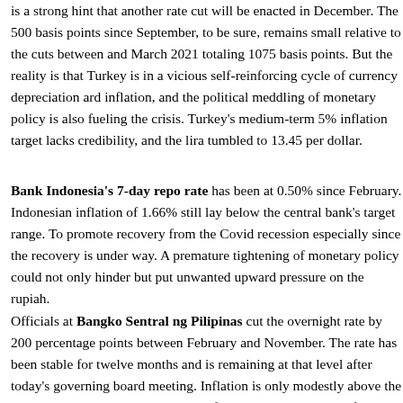is a strong hint that another rate cut will be enacted in December. The 500 basis points since September, to be sure, remains small relative to the cuts between March and March 2021 totaling 1075 basis points. But the reality is that Turkey is in a vicious self-reinforcing cycle of currency depreciation and inflation, and the political meddling of monetary policy is also fueling the crisis. Turkey's medium-term 5% inflation target lacks credibility, and the lira tumbled to 13.45 per dollar.
Bank Indonesia's 7-day repo rate has been at 0.50% since February. Indonesian inflation of 1.66% still lay below the central bank's target range. To promote recovery from the Covid recession especially since the recovery is under way. A premature tightening of monetary policy could not only hinder but put unwanted upward pressure on the rupiah.
Officials at Bangko Sentral ng Pilipinas cut the overnight rate by 200 percentage points between February and November. The rate has been stable for twelve months and is remaining at that level after today's governing board meeting. Inflation is only modestly above the 2-4% target band, and the risks to inflation lie to the upside of their baseline forecast. That said, the future remains full of uncertainties, and the inflation prognosis is considered "ma